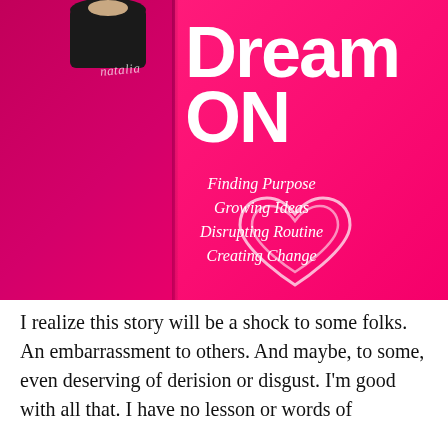[Figure (illustration): Book cover for 'Dream ON' by Natalia. Hot pink/magenta background with large bold white text reading 'Dream ON', handwritten script subtitles: 'Finding Purpose, Growing Ideas, Disrupting Routine, Creating Change', a cursive heart logo at the bottom, and a dark silhouette at the top left with a handwritten signature 'natalia'.]
I realize this story will be a shock to some folks. An embarrassment to others. And maybe, to some, even deserving of derision or disgust. I'm good with all that. I have no lesson or words of wisdom to offer. No advice to give. All I have is